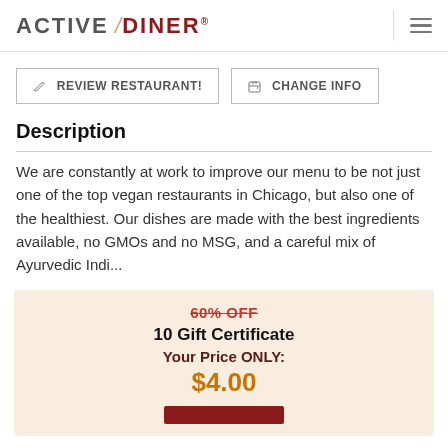ACTIVE DINER
REVIEW RESTAURANT!
CHANGE INFO
Description
We are constantly at work to improve our menu to be not just one of the top vegan restaurants in Chicago, but also one of the healthiest. Our dishes are made with the best ingredients available, no GMOs and no MSG, and a careful mix of Ayurvedic Indi...
60% OFF
10 Gift Certificate
Your Price ONLY:
$4.00